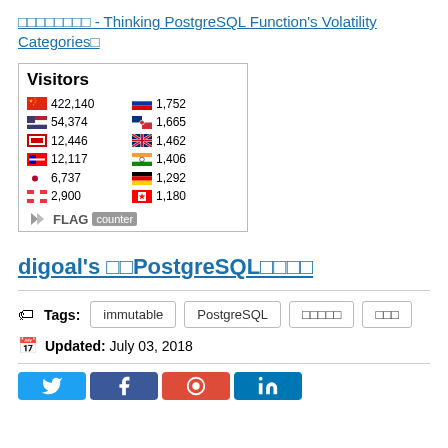□□□□□□□□ - Thinking PostgreSQL Function's Volatility Categories□
[Figure (other): Flag Counter widget showing visitor statistics by country. Visitors: China 422,140 | Russia 1,752 | USA 54,374 | South Korea 1,665 | Unknown 12,446 | UK 1,462 | Taiwan 12,117 | India 1,406 | Japan 6,737 | Germany 1,292 | Singapore 2,900 | Canada 1,180. FLAG counter logo at bottom.]
digoal's □□PostgreSQL□□□□
Tags: immutable | PostgreSQL | □□□□□ | □□□
Updated: July 03, 2018
[Figure (other): Social sharing buttons: Twitter (blue), Facebook (dark blue), Google+ (red), LinkedIn (blue)]